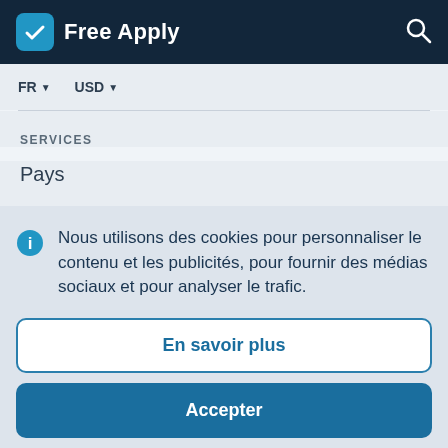Free Apply
FR   USD
SERVICES
Pays
Nous utilisons des cookies pour personnaliser le contenu et les publicités, pour fournir des médias sociaux et pour analyser le trafic.
En savoir plus
Accepter